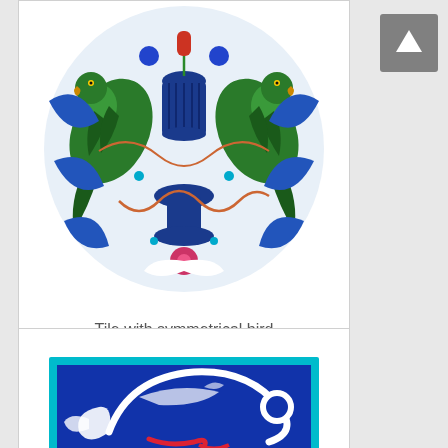[Figure (illustration): Decorative ceramic tile with symmetrical bird composition: two green parrots facing each other around a central blue vase with floral motifs, on a white background with blue and orange arabesque patterns.]
Tile with symmetrical bird composition
[Figure (illustration): Ceramic tile with a white stylized bird (phoenix or peacock) on a deep blue background with turquoise border, featuring red and white decorative swirling patterns.]